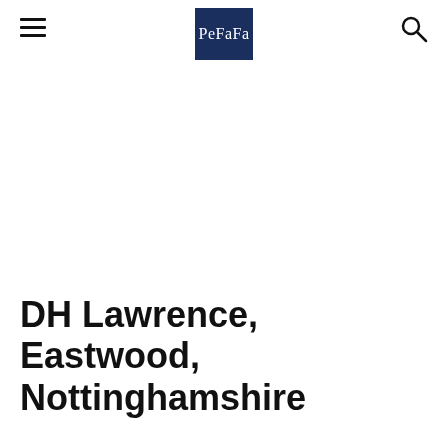PeFaFa
DH Lawrence, Eastwood, Nottinghamshire